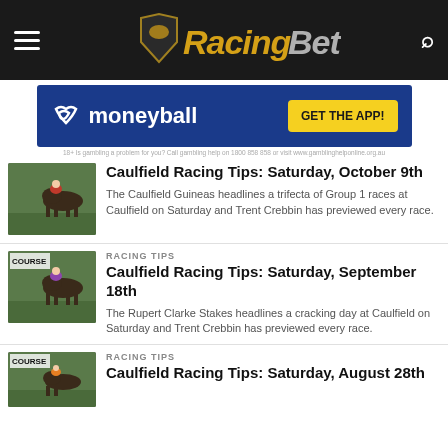RacingBet
[Figure (screenshot): Moneyball advertisement banner with dark blue background, Moneyball logo on left and 'GET THE APP!' yellow button on right]
[Figure (photo): Horse racing photo thumbnail showing horses racing on track]
Caulfield Racing Tips: Saturday, October 9th
The Caulfield Guineas headlines a trifecta of Group 1 races at Caulfield on Saturday and Trent Crebbin has previewed every race.
[Figure (photo): Horse racing photo thumbnail showing horses on course]
RACING TIPS
Caulfield Racing Tips: Saturday, September 18th
The Rupert Clarke Stakes headlines a cracking day at Caulfield on Saturday and Trent Crebbin has previewed every race.
[Figure (photo): Horse racing photo thumbnail showing horses on course]
RACING TIPS
Caulfield Racing Tips: Saturday, August 28th